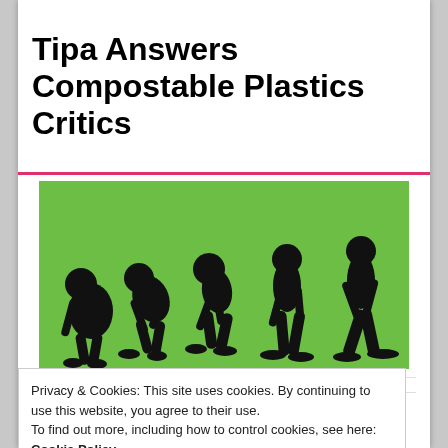Tipa Answers Compostable Plastics Critics
[Figure (illustration): Human evolution silhouette illustration showing progression from ape to upright human, five figures on a green background]
UNIVERSITIES, INSTITUTES, R&D CENTRES
Privacy & Cookies: This site uses cookies. By continuing to use this website, you agree to their use. To find out more, including how to control cookies, see here: Cookie Policy
[Figure (photo): Group of graduates in blue robes and mortarboards celebrating with arms raised, backlit with bright light]